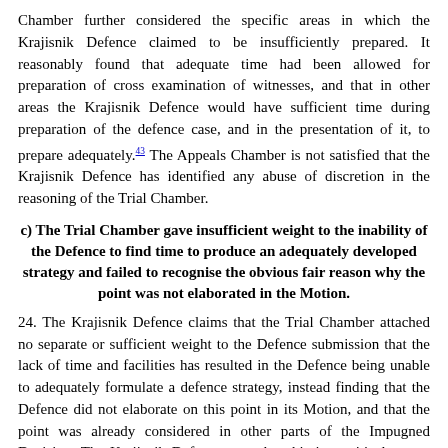Chamber further considered the specific areas in which the Krajisnik Defence claimed to be insufficiently prepared. It reasonably found that adequate time had been allowed for preparation of cross examination of witnesses, and that in other areas the Krajisnik Defence would have sufficient time during preparation of the defence case, and in the presentation of it, to prepare adequately.43 The Appeals Chamber is not satisfied that the Krajisnik Defence has identified any abuse of discretion in the reasoning of the Trial Chamber.
c) The Trial Chamber gave insufficient weight to the inability of the Defence to find time to produce an adequately developed strategy and failed to recognise the obvious fair reason why the point was not elaborated in the Motion.
24. The Krajisnik Defence claims that the Trial Chamber attached no separate or sufficient weight to the Defence submission that the lack of time and facilities has resulted in the Defence being unable to adequately formulate a defence strategy, instead finding that the Defence did not elaborate on this point in its Motion, and that the point was already considered in other parts of the Impugned Decision. The Krajisnik Defence says that this is a critical matter which is on its own a sufficient justification for the grant of a significant adjournment.44